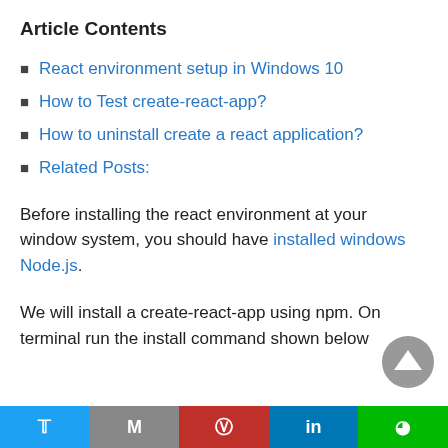Article Contents
React environment setup in Windows 10
How to Test create-react-app?
How to uninstall create a react application?
Related Posts:
Before installing the react environment at your window system, you should have installed windows Node.js.
We will install a create-react-app using npm. On terminal run the install command shown below
Twitter | Gmail | Pinterest | LinkedIn | Line